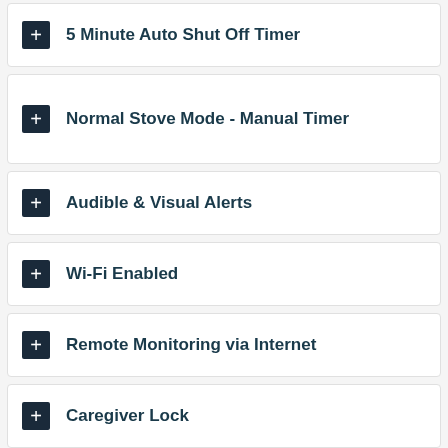5 Minute Auto Shut Off Timer
Normal Stove Mode - Manual Timer
Audible & Visual Alerts
Wi-Fi Enabled
Remote Monitoring via Internet
Caregiver Lock